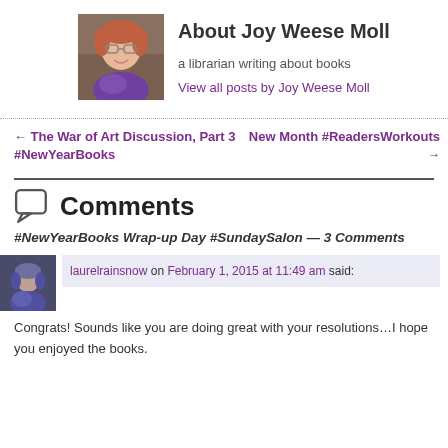[Figure (photo): Photo of Joy Weese Moll, a woman with short reddish hair and glasses, wearing a purple scarf, outdoors.]
About Joy Weese Moll
a librarian writing about books
View all posts by Joy Weese Moll
← The War of Art Discussion, Part 3 #NewYearBooks
New Month #ReadersWorkouts →
Comments
#NewYearBooks Wrap-up Day #SundaySalon — 3 Comments
[Figure (photo): Avatar photo of commenter laurelrainsnow]
laurelrainsnow on February 1, 2015 at 11:49 am said:
Congrats! Sounds like you are doing great with your resolutions…I hope you enjoyed the books.